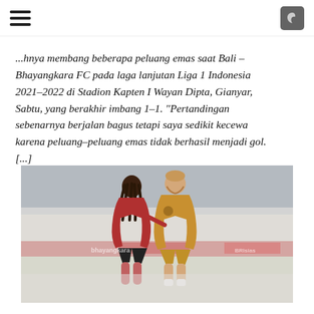☰ [menu] [dark mode toggle]
...hnya membang beberapa peluang emas saat Bali – Bhayangkara FC pada laga lanjutan Liga 1 Indonesia 2021–2022 di Stadion Kapten I Wayan Dipta, Gianyar, Sabtu, yang berakhir imbang 1–1. "Pertandingan sebenarnya berjalan bagus tetapi saya sedikit kecewa karena peluang–peluang emas tidak berhasil menjadi gol. [...]
[Figure (photo): Two football players competing during a Liga 1 Indonesia match — one in red jersey, one in yellow/gold jersey — at Stadion Kapten I Wayan Dipta, Gianyar. Foggy/hazy atmosphere. Sponsor banners visible in background including Bhayangkara and BRI Sias branding.]